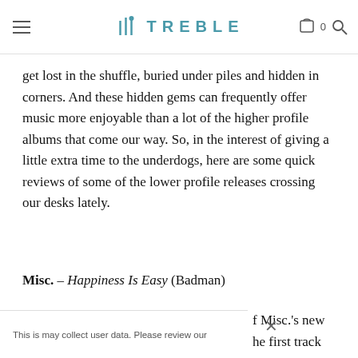TREBLE
get lost in the shuffle, buried under piles and hidden in corners. And these hidden gems can frequently offer music more enjoyable than a lot of the higher profile albums that come our way. So, in the interest of giving a little extra time to the underdogs, here are some quick reviews of some of the lower profile releases crossing our desks lately.
Misc. – Happiness Is Easy (Badman)
f Misc.'s new
he first track
This is may collect user data. Please review our